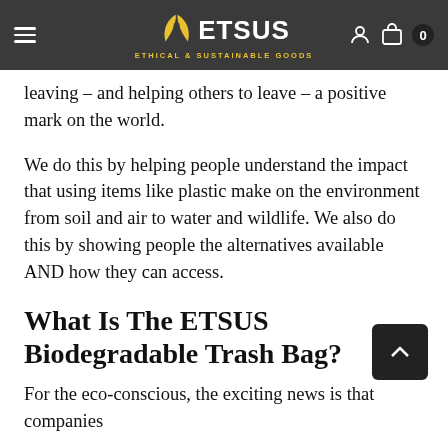ETSUS — Ethical & Sustainable Goods
leaving – and helping others to leave – a positive mark on the world.
We do this by helping people understand the impact that using items like plastic make on the environment from soil and air to water and wildlife. We also do this by showing people the alternatives available AND how they can access.
What Is The ETSUS Biodegradable Trash Bag?
For the eco-conscious, the exciting news is that companies